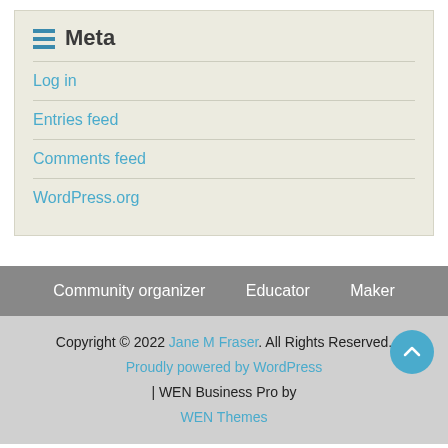Meta
Log in
Entries feed
Comments feed
WordPress.org
Community organizer   Educator   Maker
Copyright © 2022 Jane M Fraser. All Rights Reserved. Proudly powered by WordPress | WEN Business Pro by WEN Themes